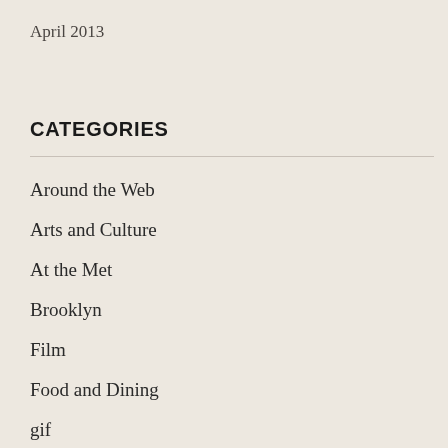April 2013
CATEGORIES
Around the Web
Arts and Culture
At the Met
Brooklyn
Film
Food and Dining
gif
Guitar